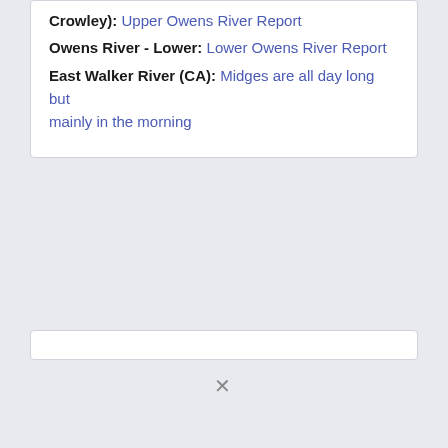Crowley): Upper Owens River Report
Owens River - Lower: Lower Owens River Report
East Walker River (CA): Midges are all day long but mainly in the morning
[Figure (other): Empty white card/box region, appears to be a placeholder or image container]